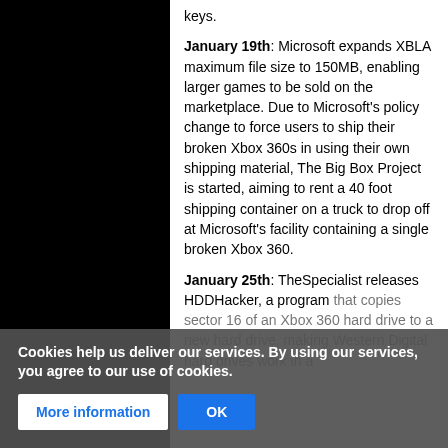keys.
January 19th: Microsoft expands XBLA maximum file size to 150MB, enabling larger games to be sold on the marketplace. Due to Microsoft's policy change to force users to ship their broken Xbox 360s in using their own shipping material, The Big Box Project is started, aiming to rent a 40 foot shipping container on a truck to drop off at Microsoft's facility containing a single broken Xbox 360.
January 25th: TheSpecialist releases HDDHacker, a program that copies sector 16 of an Xbox 360 hard drive to a new hard drive, making Western Digital hard drives work in a
Cookies help us deliver our services. By using our services, you agree to our use of cookies.